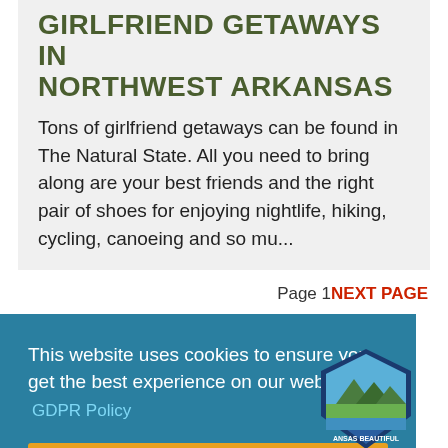Girlfriend Getaways in Northwest Arkansas
Tons of girlfriend getaways can be found in The Natural State. All you need to bring along are your best friends and the right pair of shoes for enjoying nightlife, hiking, cycling, canoeing and so mu...
Page 1NEXT PAGE
This website uses cookies to ensure you get the best experience on our website.
GDPR Policy
OK
[Figure (logo): Arkansas Beautiful hexagonal logo badge with mountains, trees and water]